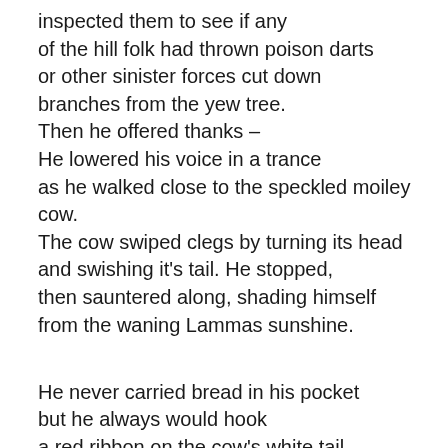inspected them to see if any
of the hill folk had thrown poison darts
or other sinister forces cut down
branches from the yew tree.
Then he offered thanks –
He lowered his voice in a trance
as he walked close to the speckled moiley cow.
The cow swiped clegs by turning its head
and swishing it's tail. He stopped,
then sauntered along, shading himself
from the waning Lammas sunshine.

He never carried bread in his pocket
but he always would hook
a red ribbon on the cow's white tail.
before, slowly, it moved to join the herd
to drink from the Culnady river